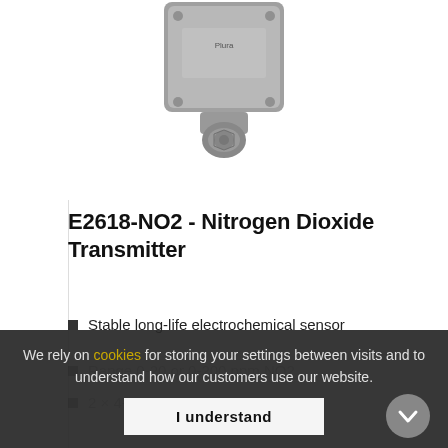[Figure (photo): Photo of the E2618-NO2 Nitrogen Dioxide Transmitter — a gray metal box sensor with cable gland at the bottom]
E2618-NO2 - Nitrogen Dioxide Transmitter
Stable long-life electrochemical sensor
Range 0-20 or 0-200 ppm NO2
2 × 4-20 mA or 0-10 V, RS485
We rely on cookies for storing your settings between visits and to understand how our customers use our website.